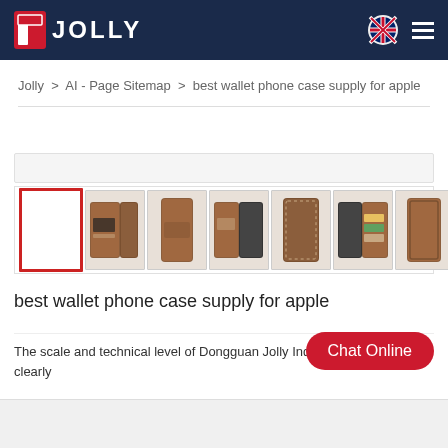[Figure (logo): Jolly brand logo with red icon and white text on dark navy background]
Jolly > AI - Page Sitemap > best wallet phone case supply for apple
[Figure (photo): Product image gallery showing 7 thumbnails of wallet phone cases in brown leather. First thumbnail is selected with red border (blank/white), followed by 6 brown leather wallet case photos from different angles.]
best wallet phone case supply for apple
The scale and technical level of Dongguan Jolly Industries Limited are clearly